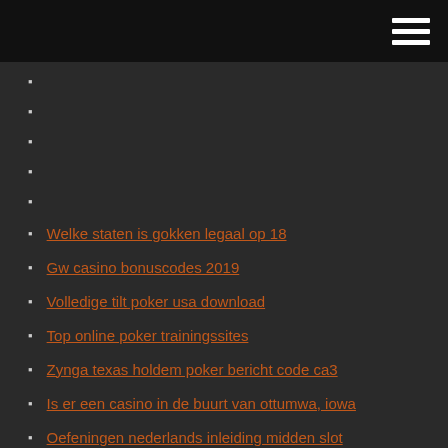Welke staten is gokken legaal op 18
Gw casino bonuscodes 2019
Volledige tilt poker usa download
Top online poker trainingssites
Zynga texas holdem poker bericht code ca3
Is er een casino in de buurt van ottumwa, iowa
Oefeningen nederlands inleiding midden slot
Bij gokken wat een teaser is
Suiker rush casino poker